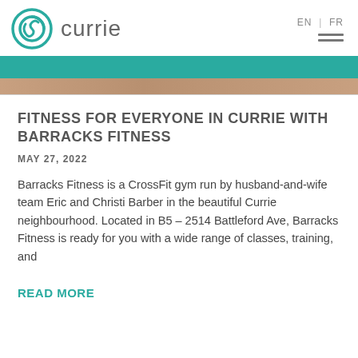[Figure (logo): Currie logo with teal circular icon and the word 'currie' in grey sans-serif]
EN | FR
[Figure (photo): Teal banner and partial photo strip below the header]
FITNESS FOR EVERYONE IN CURRIE WITH BARRACKS FITNESS
MAY 27, 2022
Barracks Fitness is a CrossFit gym run by husband-and-wife team Eric and Christi Barber in the beautiful Currie neighbourhood. Located in B5 – 2514 Battleford Ave, Barracks Fitness is ready for you with a wide range of classes, training, and
READ MORE